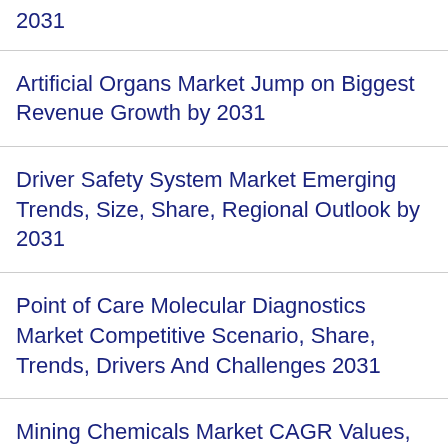2031
Artificial Organs Market Jump on Biggest Revenue Growth by 2031
Driver Safety System Market Emerging Trends, Size, Share, Regional Outlook by 2031
Point of Care Molecular Diagnostics Market Competitive Scenario, Share, Trends, Drivers And Challenges 2031
Mining Chemicals Market CAGR Values, Size, Share, SWOT Analysis by 2031